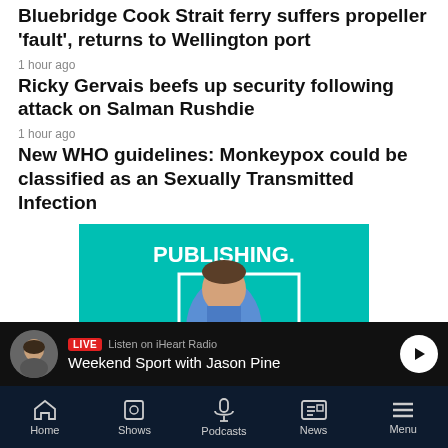Bluebridge Cook Strait ferry suffers propeller 'fault', returns to Wellington port
1 hour ago
Ricky Gervais beefs up security following attack on Salman Rushdie
1 hour ago
New WHO guidelines: Monkeypox could be classified as an Sexually Transmitted Infection
[Figure (illustration): Advertisement banner with teal/cyan background showing a man in a blue shirt holding a coffee mug and reading, with the word PUBLISHING. in bold white text at top]
LIVE  Listen on iHeart Radio
Weekend Sport with Jason Pine
Home   Shows   Podcasts   News   Menu